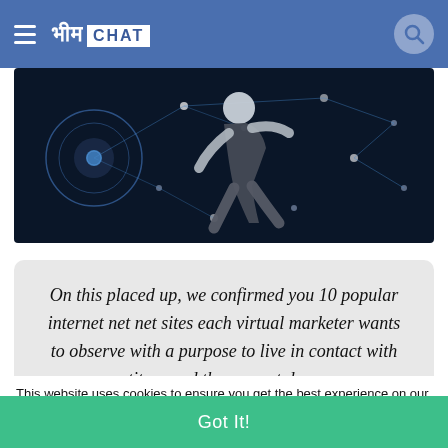भीम CHAT
[Figure (photo): A person running against a dark background with glowing network/technology connection lines and nodes overlay, suggesting digital marketing or internet connectivity theme.]
On this placed up, we confirmed you 10 popular internet net net sites each virtual marketer wants to observe with a purpose to live in contact with competitors and the present day agency dispositions.
This website uses cookies to ensure you get the best experience on our website. Learn More
Got It!